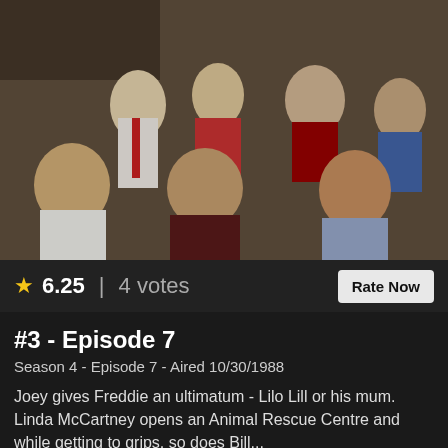[Figure (photo): Group photo of seven people (cast members) in what appears to be a kitchen or indoor setting, likely a TV show promotional or production photo from the late 1980s. Six people visible: two men standing at back left, a woman with curly hair center-back, an older man with wild hair and mustache, a young man at far right back, a young man seated front left, a middle-aged woman seated center, and a young man seated front right.]
★ 6.25 | 4 votes
Rate Now
#3 - Episode 7
Season 4 - Episode 7 - Aired 10/30/1988
Joey gives Freddie an ultimatum - Lilo Lill or his mum. Linda McCartney opens an Animal Rescue Centre and while getting to grips, so does Bill...